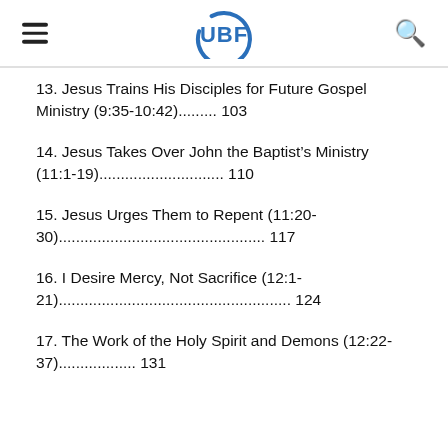UBF
13. Jesus Trains His Disciples for Future Gospel Ministry (9:35-10:42).......... 103
14. Jesus Takes Over John the Baptist's Ministry (11:1-19).............................. 110
15. Jesus Urges Them to Repent (11:20-30)................................................ 117
16. I Desire Mercy, Not Sacrifice (12:1-21).................................................... 124
17. The Work of the Holy Spirit and Demons (12:22-37)...................... 131